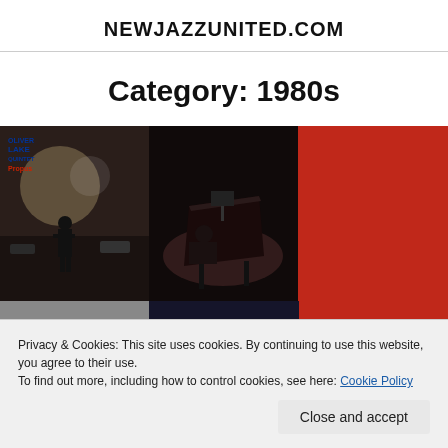NEWJAZZUNITED.COM
Category: 1980s
[Figure (photo): Three side-by-side images: (1) Oliver Lake Quintet 'Propus' album cover showing a figure on a city street at night with blue/red text, (2) a pianist performing on a dark stage, (3) solid red panel]
[Figure (photo): Partial bottom row of three images: a vintage image with circular shapes, a dark blue/purple image, and a red panel]
Privacy & Cookies: This site uses cookies. By continuing to use this website, you agree to their use.
To find out more, including how to control cookies, see here: Cookie Policy